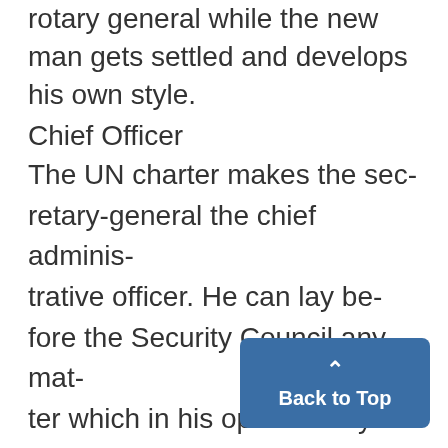rotary general while the new man gets settled and develops his own style.
Chief Officer
The UN charter makes the secretary-general the chief administrative officer. He can lay before the Security Council any matter which in his opinion may threaten international peace. ' Sometimes the secretary-general has acted on his own or at the request of interested governm to help settle conflicts. Thant